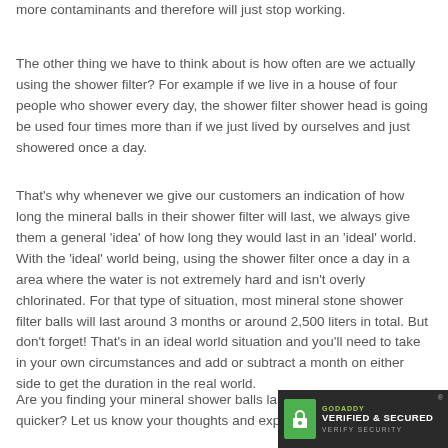more contaminants and therefore will just stop working.
The other thing we have to think about is how often are we actually using the shower filter? For example if we live in a house of four people who shower every day, the shower filter shower head is going be used four times more than if we just lived by ourselves and just showered once a day.
That's why whenever we give our customers an indication of how long the mineral balls in their shower filter will last, we always give them a general 'idea' of how long they would last in an 'ideal' world. With the 'ideal' world being, using the shower filter once a day in a area where the water is not extremely hard and isn't overly chlorinated. For that type of situation, most mineral stone shower filter balls will last around 3 months or around 2,500 liters in total. But don't forget! That's in an ideal world situation and you'll need to take in your own circumstances and add or subtract a month on either side to get the duration in the real world.
Are you finding your mineral shower balls last longer or run out quicker? Let us know your thoughts and exper…
[Figure (logo): GoDaddy Verified & Secured badge with padlock icon on dark background]